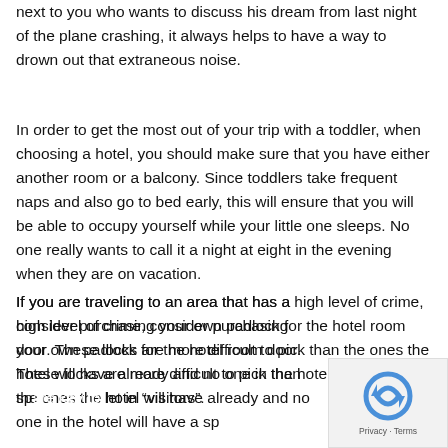next to you who wants to discuss his dream from last night of the plane crashing, it always helps to have a way to drown out that extraneous noise.
In order to get the most out of your trip with a toddler, when choosing a hotel, you should make sure that you have either another room or a balcony. Since toddlers take frequent naps and also go to bed early, this will ensure that you will be able to occupy yourself while your little one sleeps. No one really wants to call it a night at eight in the evening when they are on vacation.
If you are traveling to an area that has a high level of crime, consider purchasing your own padlock for the hotel room door. These locks are more difficult to pick than the ones the hotel will have already and no one in the hotel will have a spare key to let in “visitors”.